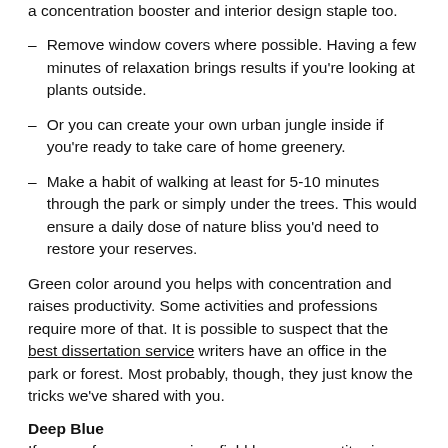a concentration booster and interior design staple too.
Remove window covers where possible. Having a few minutes of relaxation brings results if you're looking at plants outside.
Or you can create your own urban jungle inside if you're ready to take care of home greenery.
Make a habit of walking at least for 5-10 minutes through the park or simply under the trees. This would ensure a daily dose of nature bliss you'd need to restore your reserves.
Green color around you helps with concentration and raises productivity. Some activities and professions require more of that. It is possible to suspect that the best dissertation service writers have an office in the park or forest. Most probably, though, they just know the tricks we've shared with you.
Deep Blue
If a sea of green grows in a field has a competitor in